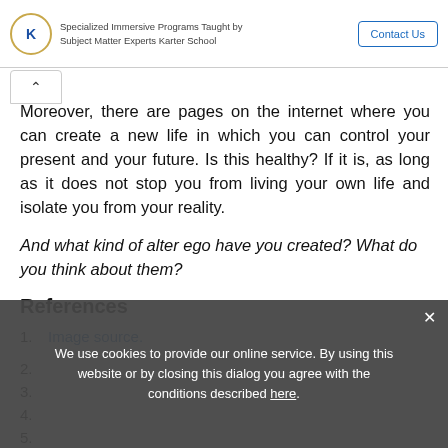Specialized Immersive Programs Taught by Subject Matter Experts Karter School | Contact Us
Moreover, there are pages on the internet where you can create a new life in which you can control your present and your future. Is this healthy? If it is, as long as it does not stop you from living your own life and isolate you from your reality.
And what kind of alter ego have you created? What do you think about them?
References
1. Image source.
2.
3.
4.
5.
We use cookies to provide our online service. By using this website or by closing this dialog you agree with the conditions described here.